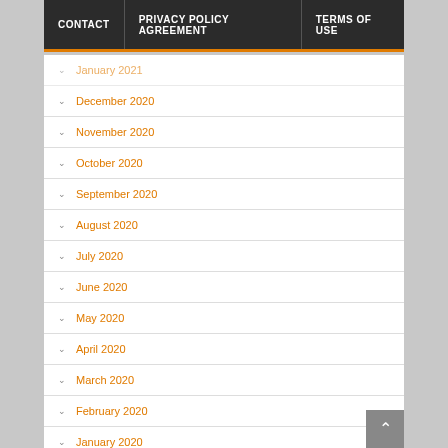CONTACT  |  PRIVACY POLICY AGREEMENT  |  TERMS OF USE
January 2021
December 2020
November 2020
October 2020
September 2020
August 2020
July 2020
June 2020
May 2020
April 2020
March 2020
February 2020
January 2020